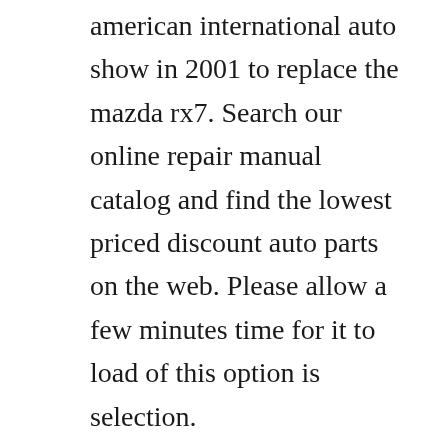american international auto show in 2001 to replace the mazda rx7. Search our online repair manual catalog and find the lowest priced discount auto parts on the web. Please allow a few minutes time for it to load of this option is selection.
Download a free pdf mazda rx7 workshop manual factory service manual repair manual for cars built between 1986 1988. Mazda rx7 1986 workshop service repair manual mazda rx7 1987 workshop service manual mazda rx7 1988 service repair manual mazda rx7 1993 workshop service repair manual 1988 mazda